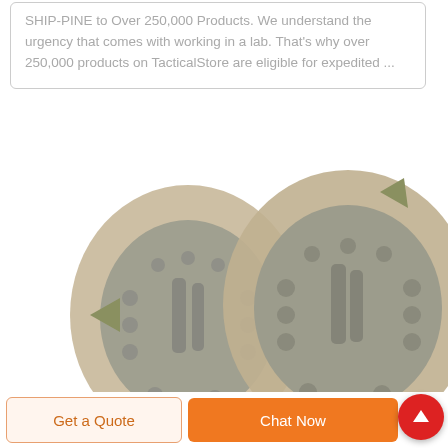SHIP-PINE to Over 250,000 Products. We understand the urgency that comes with working in a lab. That's why over 250,000 products on TacticalStore are eligible for expedited ...
[Figure (logo): DEEKON brand logo with circular camouflage emblem and red D letter, red bold DEEKON text below]
[Figure (photo): Two tactical knee pads in desert camouflage/tan color, showing the underside with grey rubber grip ridges and attachment straps, DEEKON brand product]
Get a Quote
Chat Now